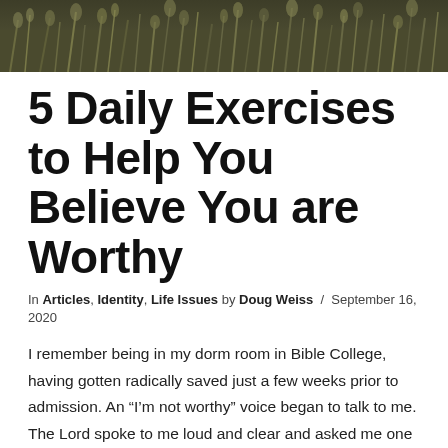[Figure (photo): Photograph of tall grass or wheat field, dark green and brown tones, cropped banner at top of page]
5 Daily Exercises to Help You Believe You are Worthy
In Articles, Identity, Life Issues by Doug Weiss / September 16, 2020
I remember being in my dorm room in Bible College, having gotten radically saved just a few weeks prior to admission. An “I’m not worthy” voice began to talk to me. The Lord spoke to me loud and clear and asked me one simple question that